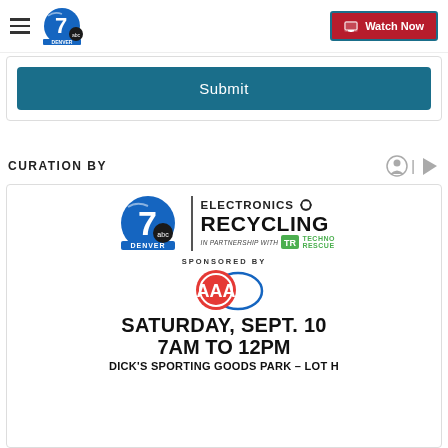Denver 7 ABC | Watch Now
Submit
CURATION BY
[Figure (infographic): Denver 7 ABC Electronics Recycling event poster. In partnership with Techno Rescue, sponsored by AAA. Saturday, Sept. 10, 7AM to 12PM, Dick's Sporting Goods Park - Lot H.]